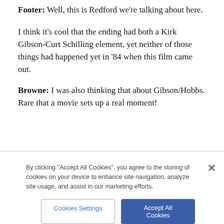Footer: Well, this is Redford we're talking about here.
I think it's cool that the ending had both a Kirk Gibson-Curt Schilling element, yet neither of those things had happened yet in '84 when this film came out.
Browne: I was also thinking that about Gibson/Hobbs. Rare that a movie sets up a real moment!
By clicking "Accept All Cookies", you agree to the storing of cookies on your device to enhance site navigation, analyze site usage, and assist in our marketing efforts.
Cookies Settings
Accept All Cookies